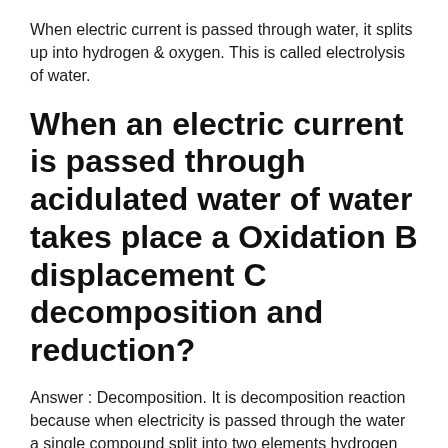When electric current is passed through water, it splits up into hydrogen & oxygen. This is called electrolysis of water.
When an electric current is passed through acidulated water of water takes place a Oxidation B displacement C decomposition and reduction?
Answer : Decomposition. It is decomposition reaction because when electricity is passed through the water a single compound split into two elements hydrogen and oxygen so it is called decomposition reaction.